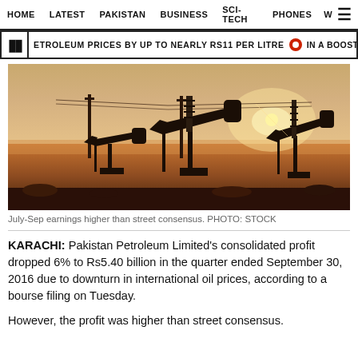HOME   LATEST   PAKISTAN   BUSINESS   SCI-TECH   PHONES   W
ETROLEUM PRICES BY UP TO NEARLY RS11 PER LITRE  IN A BOOST TO DWINDLIN
[Figure (photo): Oil pump jacks (pumpjacks) silhouetted against a warm sunset sky in an oil field]
July-Sep earnings higher than street consensus. PHOTO: STOCK
KARACHI: Pakistan Petroleum Limited's consolidated profit dropped 6% to Rs5.40 billion in the quarter ended September 30, 2016 due to downturn in international oil prices, according to a bourse filing on Tuesday.
However, the profit was higher than street consensus.